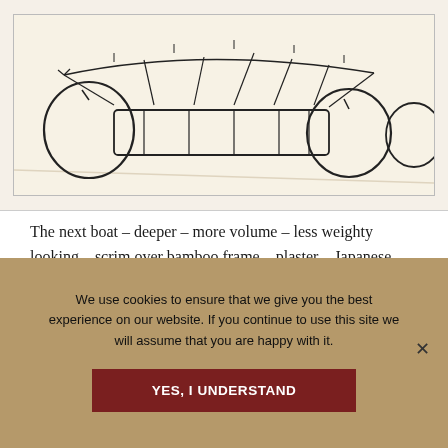[Figure (illustration): Hand-drawn pencil sketch of a boat design on paper, showing a low-profile vessel with circular wheel-like forms at each end and rectangular structural elements in the middle, with various annotation lines.]
The next boat – deeper – more volume – less weighty looking – scrim over bamboo frame – plaster – Japanese lace paper on outside, matte spray, gesso.
This boat is like
A nest
We use cookies to ensure that we give you the best experience on our website. If you continue to use this site we will assume that you are happy with it.
YES, I UNDERSTAND